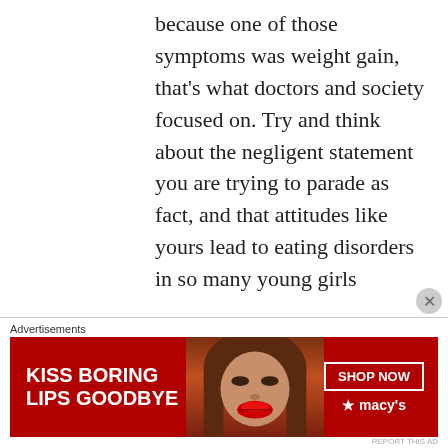because one of those symptoms was weight gain, that's what doctors and society focused on. Try and think about the negligent statement you are trying to parade as fact, and that attitudes like yours lead to eating disorders in so many young girls because of this
[Figure (other): Advertisement banner for Macy's lipstick promotion reading 'KISS BORING LIPS GOODBYE' with a photo of a woman with red lips and a 'SHOP NOW' button with Macy's star logo]